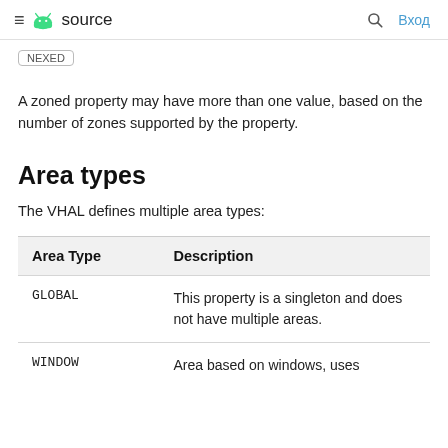≡ source  🔍 Вход
NEXED
A zoned property may have more than one value, based on the number of zones supported by the property.
Area types
The VHAL defines multiple area types:
| Area Type | Description |
| --- | --- |
| GLOBAL | This property is a singleton and does not have multiple areas. |
| WINDOW | Area based on windows, uses |